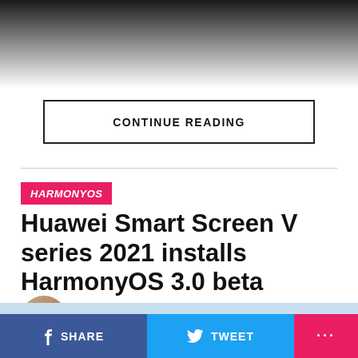[Figure (photo): Top portion of an image fading to white, showing a dark gradient at the top]
CONTINUE READING
HARMONYOS
Huawei Smart Screen V series 2021 installs HarmonyOS 3.0 beta
Published 1 day ago on August 23, 2022
By Yash Mishra